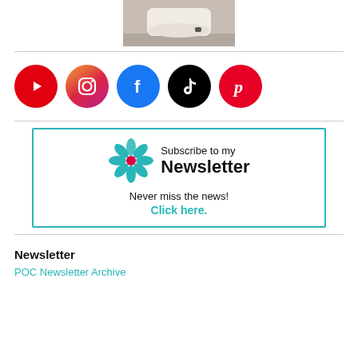[Figure (photo): Partial photo of a person with arms crossed, wearing a light-colored outfit, cropped at chest level]
[Figure (infographic): Row of five social media icon buttons: YouTube (red), Instagram (pink/purple gradient), Facebook (blue), TikTok (black), Pinterest (red)]
[Figure (infographic): Newsletter subscription banner with teal flower logo, text 'Subscribe to my Newsletter', 'Never miss the news!', and 'Click here.' in teal]
Newsletter
POC Newsletter Archive